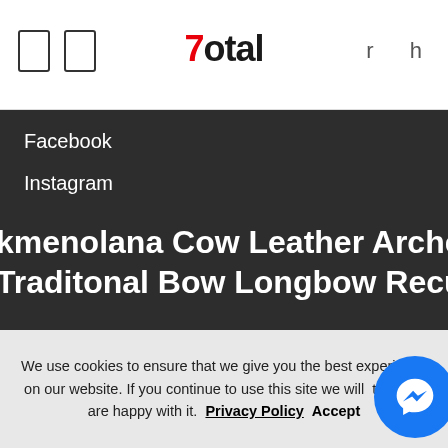7Total
Facebook
Instagram
kmenolana Cow Leather Archery Arm Guard Bracer for Traditonal Bow Longbow Recurve Bow
Mini Car Long Handle Creative Glass Drinking Trick M... Samuel Oliver
...Pool Dream Mgarten Oktopocket Hill Leather Deer...
Womens Long Sleeve Zip Up Hoodie Speedo...
4 Culture Silvery Gear Snacker Battle Aqua Bus...
We use cookies to ensure that we give you the best experience on our website. If you continue to use this site we will assume that you are happy with it. Privacy Policy Accept